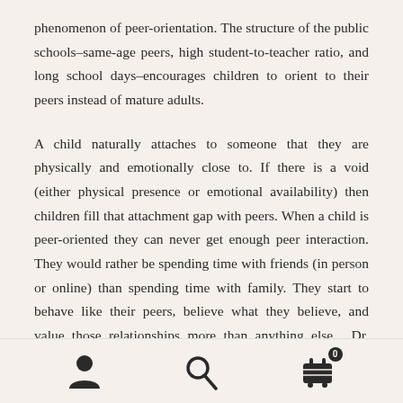phenomenon of peer-orientation. The structure of the public schools–same-age peers, high student-to-teacher ratio, and long school days–encourages children to orient to their peers instead of mature adults.
A child naturally attaches to someone that they are physically and emotionally close to. If there is a void (either physical presence or emotional availability) then children fill that attachment gap with peers. When a child is peer-oriented they can never get enough peer interaction. They would rather be spending time with friends (in person or online) than spending time with family. They start to behave like their peers, believe what they believe, and value those relationships more than anything else. Dr. Neufeld explains that children need to be attached to loving, mature adults in order to learn mature social
[Figure (other): Bottom navigation bar with three icons: user profile icon, search/magnifying glass icon, and shopping cart icon with badge showing 0]